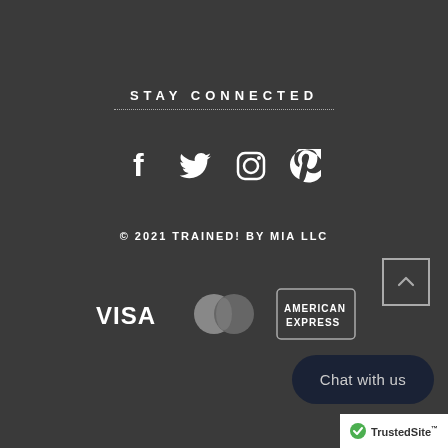STAY CONNECTED
[Figure (infographic): Social media icons: Facebook, Twitter, Instagram, Pinterest]
© 2021 TRAINED! BY MIA LLC
[Figure (infographic): Payment method logos: VISA, MasterCard, American Express]
Chat with us
[Figure (logo): TrustedSite badge with green checkmark]